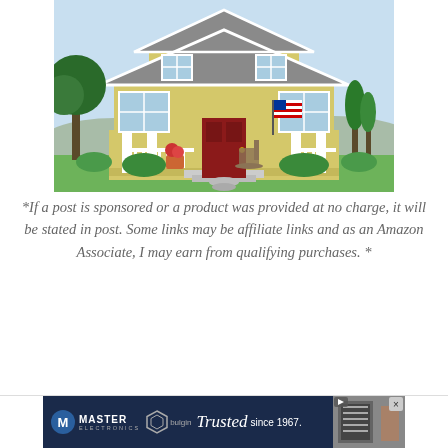[Figure (illustration): Illustration of a yellow American craftsman-style house with a red front door, white porch railings, rocking chair, flower pot, American flag, trees and shrubs in background.]
*If a post is sponsored or a product was provided at no charge, it will be stated in post. Some links may be affiliate links and as an Amazon Associate, I may earn from qualifying purchases. *
[Figure (illustration): Advertisement banner for Master Electronics and Bulgin: dark navy background with Master Electronics logo, Bulgin branding, and 'Trusted since 1967.' text in italic script. Right side shows a product image thumbnail with close and play buttons.]